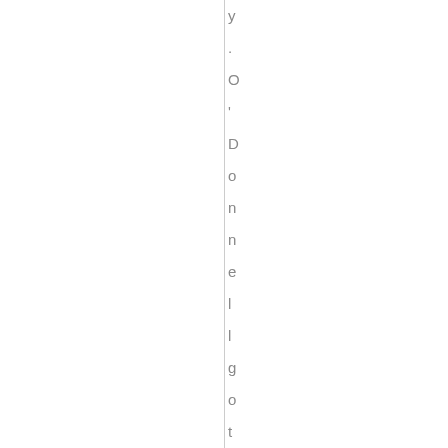y. O'Donnell got 53 percent of